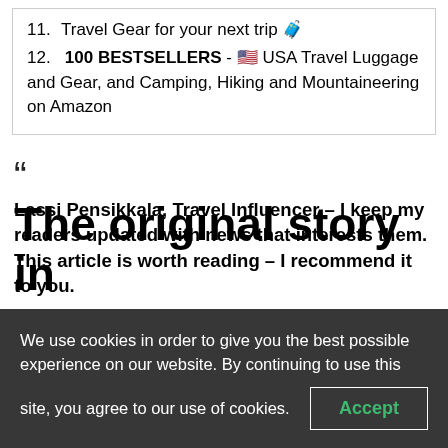11. Travel Gear for your next trip 🧳
12. 100 BESTSELLERS - 🇺🇸 USA Travel Luggage and Gear, and Camping, Hiking and Mountaineering on Amazon
“
Lassi Pensikkala, Travel Influencer – I keep my readers updated with news that interests them. This article is worth reading – I recommend it to you.
The original story in
We use cookies in order to give you the best possible experience on our website. By continuing to use this site, you agree to our use of cookies.
Accept